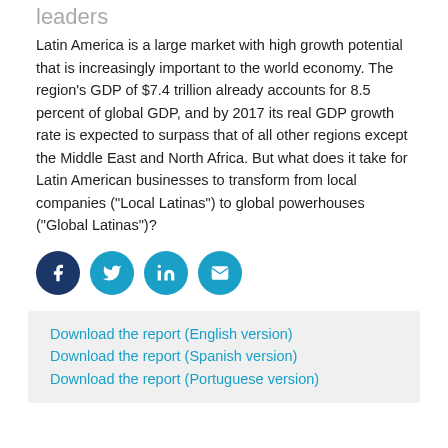leaders
Latin America is a large market with high growth potential that is increasingly important to the world economy. The region’s GDP of $7.4 trillion already accounts for 8.5 percent of global GDP, and by 2017 its real GDP growth rate is expected to surpass that of all other regions except the Middle East and North Africa. But what does it take for Latin American businesses to transform from local companies (“Local Latinas”) to global powerhouses (“Global Latinas”)?
[Figure (infographic): Social sharing icons: Facebook (dark blue circle), Twitter (light blue circle), LinkedIn (light blue circle), Email (light blue circle)]
Download the report (English version)
Download the report (Spanish version)
Download the report (Portuguese version)